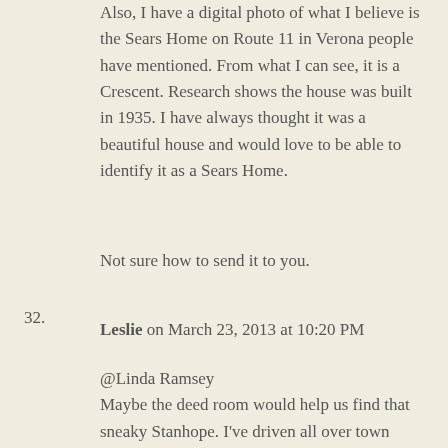Also, I have a digital photo of what I believe is the Sears Home on Route 11 in Verona people have mentioned. From what I can see, it is a Crescent. Research shows the house was built in 1935. I have always thought it was a beautiful house and would love to be able to identify it as a Sears Home.
Not sure how to send it to you.
32.
Leslie on March 23, 2013 at 10:20 PM
@Linda Ramsey
Maybe the deed room would help us find that sneaky Stanhope. I've driven all over town looking for it.